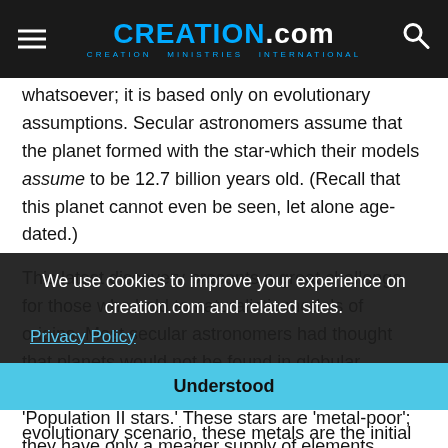CREATION.com — CREATION MINISTRIES INTERNATIONAL
whatsoever; it is based only on evolutionary assumptions. Secular astronomers assume that the planet formed with the star-which their models assume to be 12.7 billion years old. (Recall that this planet cannot even be seen, let alone age-dated.)
This latest discovery presents a great challenge for those who hold to naturalistic models of origins. Most secular astronomers had thought that planets would not be found in globular clusters. Globular star clusters consist of 'Population II stars.' These stars are 'metal-poor'; they have only a meager supply of elements heavier than helium (astronomers call these heavy elements 'metals') compared to stars like the sun. In the evolutionary scenario, these metals are the initial
We use cookies to improve your experience on creation.com and related sites.
Privacy Policy
Understood